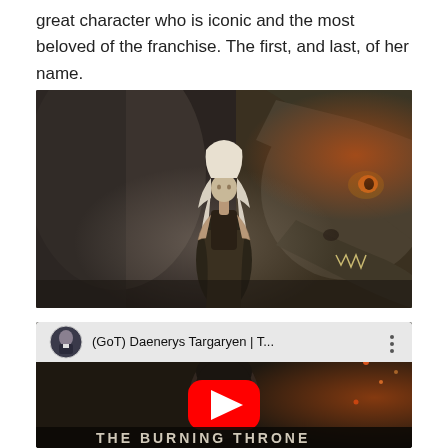great character who is iconic and the most beloved of the franchise. The first, and last, of her name.
[Figure (photo): A woman with long silver-white hair wearing dark armor-style clothing stands in front of a large dragon. The scene is from Game of Thrones featuring Daenerys Targaryen with her dragon.]
[Figure (screenshot): YouTube video embed showing a video titled '(GoT) Daenerys Targaryen | T...' with a YouTube play button overlay on a dark scene with text 'THE BURNING THRONE' partially visible at the bottom. A small circular channel avatar showing a man in a suit is visible in the top-left.]